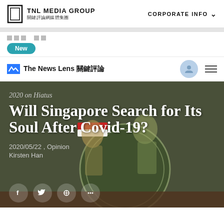TNL MEDIA GROUP 關鍵評論網媒體集團
CORPORATE INFO
□□□  □□   New
The News Lens 關鍵評論
[Figure (illustration): Cartoon illustration of migrant workers with flags and circular badge reading MIGRANT WORKER on a dark muted background]
2020 on Hiatus
Will Singapore Search for Its Soul After Covid-19?
2020/05/22 , Opinion
Kirsten Han